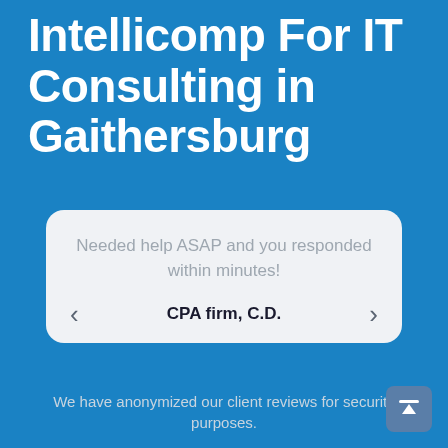Intellicomp For IT Consulting in Gaithersburg
Needed help ASAP and you responded within minutes!
CPA firm, C.D.
We have anonymized our client reviews for security purposes.